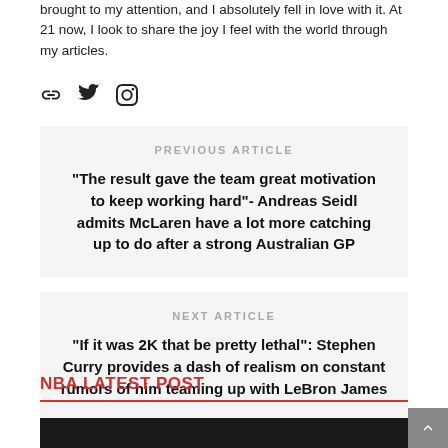brought to my attention, and I absolutely fell in love with it. At 21 now, I look to share the joy I feel with the world through my articles.
[Figure (infographic): Social media icons: link, Twitter bird, Instagram camera]
PREVIOUS ARTICLE
"The result gave the team great motivation to keep working hard"- Andreas Seidl admits McLaren have a lot more catching up to do after a strong Australian GP
NEXT ARTICLE
"If it was 2K that be pretty lethal": Stephen Curry provides a dash of realism on constant rumors of him teaming up with LeBron James
NBA LATEST POST
[Figure (photo): Dark/black photograph, bottom of page, partially visible]